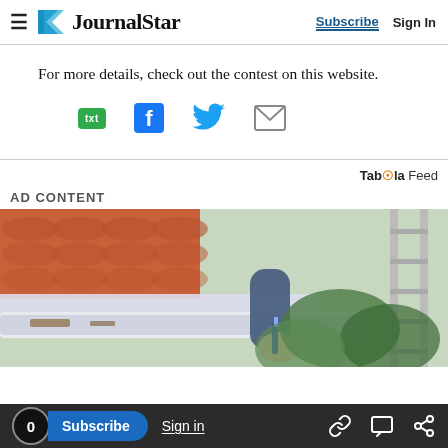≡ JournalStar | Subscribe  Sign In
For more details, check out the contest on this website.
[Figure (infographic): Social sharing icons: txt (green), Facebook (blue F), Twitter (blue bird), Email (grey envelope)]
[Figure (infographic): Taboola Feed logo and AD CONTENT section header with sponsored photo of a person cleaning a rain gutter on a roof from a ladder]
0  Subscribe  Sign in